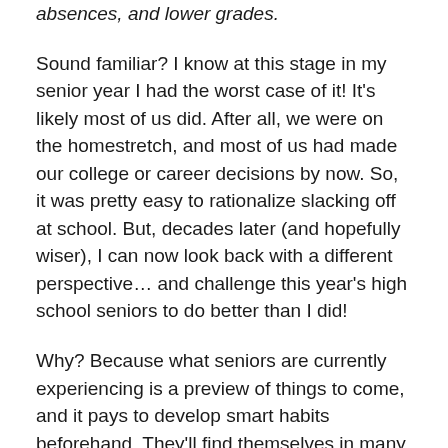absences, and lower grades.
Sound familiar? I know at this stage in my senior year I had the worst case of it! It's likely most of us did. After all, we were on the homestretch, and most of us had made our college or career decisions by now. So, it was pretty easy to rationalize slacking off at school. But, decades later (and hopefully wiser), I can now look back with a different perspective… and challenge this year's high school seniors to do better than I did!
Why? Because what seniors are currently experiencing is a preview of things to come, and it pays to develop smart habits beforehand. They'll find themselves in many situations in college and career in which finishing strong after a long and arduous effort will make or break their success (For example: thesis papers in college, landing a